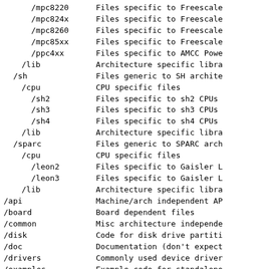| Path | Description |
| --- | --- |
| /mpc8220 | Files specific to Freescale |
| /mpc824x | Files specific to Freescale |
| /mpc8260 | Files specific to Freescale |
| /mpc85xx | Files specific to Freescale |
| /ppc4xx | Files specific to AMCC Powe |
| /lib | Architecture specific libra |
| /sh | Files generic to SH archite |
| /cpu | CPU specific files |
| /sh2 | Files specific to sh2 CPUs |
| /sh3 | Files specific to sh3 CPUs |
| /sh4 | Files specific to sh4 CPUs |
| /lib | Architecture specific libra |
| /sparc | Files generic to SPARC arch |
| /cpu | CPU specific files |
| /leon2 | Files specific to Gaisler L |
| /leon3 | Files specific to Gaisler L |
| /lib | Architecture specific libra |
| /api | Machine/arch independent AP |
| /board | Board dependent files |
| /common | Misc architecture independe |
| /disk | Code for disk drive partiti |
| /doc | Documentation (don't expect |
| /drivers | Commonly used device driver |
| /examples | Example code for standalone |
| /fs | Filesystem code (cramfs, ex |
| /include | Header Files |
| /lib | Files generic to all archit |
| /libfdt | Library files to support fl |
| /lzma | Library files to support LZ |
| /lzo | Library files to support LZ |